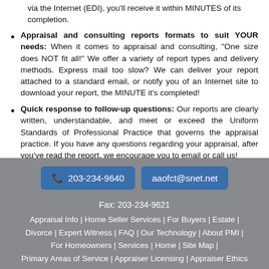via the Internet (EDI), you'll receive it within MINUTES of its completion.
Appraisal and consulting reports formats to suit YOUR needs: When it comes to appraisal and consulting, "One size does NOT fit all!" We offer a variety of report types and delivery methods. Express mail too slow? We can deliver your report attached to a standard email, or notify you of an Internet site to download your report, the MINUTE it's completed!
Quick response to follow-up questions: Our reports are clearly written, understandable, and meet or exceed the Uniform Standards of Professional Practice that governs the appraisal practice. If you have any questions regarding your appraisal, after you've read the report, we encourage you to email or call us!
203-234-9640 | aaofct@snet.net | Fax: 203-234-9621 | Appraisal Info | Home Seller Services | For Buyers | Estate | Divorce | Expert Witness | FAQ | Our Technology | About PMI | For Homeowners | Services | Home | Site Map | Primary Areas of Service | Appraiser Licensing | Appraiser Ethics